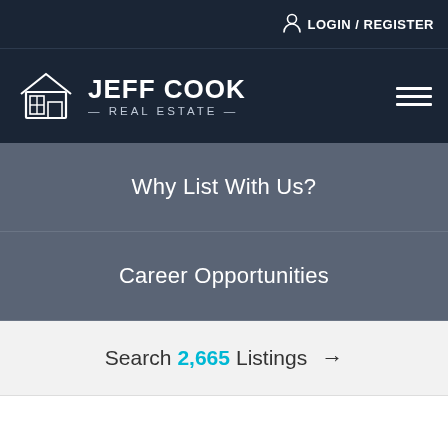LOGIN / REGISTER
[Figure (logo): Jeff Cook Real Estate logo with house icon and text]
Why List With Us?
Career Opportunities
Search 2,665 Listings →
Home › Blog › Real Estate Career